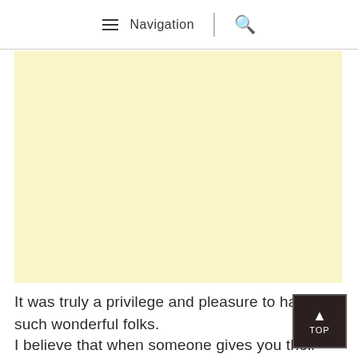≡ Navigation | 🔍
[Figure (other): A large light yellow/cream colored advertisement or image placeholder block]
It was truly a privilege and pleasure to have met such wonderful folks.
I believe that when someone gives you their time,